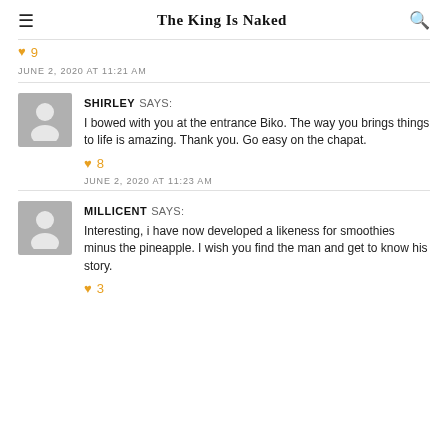The King Is Naked
♥ 9
JUNE 2, 2020 AT 11:21 AM
SHIRLEY SAYS:
I bowed with you at the entrance Biko. The way you brings things to life is amazing. Thank you. Go easy on the chapat.
♥ 8
JUNE 2, 2020 AT 11:23 AM
MILLICENT SAYS:
Interesting, i have now developed a likeness for smoothies minus the pineapple. I wish you find the man and get to know his story.
♥ 3